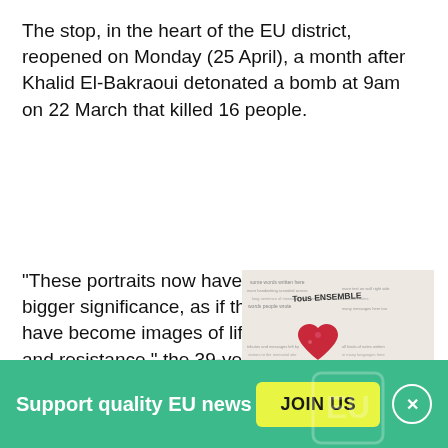The stop, in the heart of the EU district, reopened on Monday (25 April), a month after Khalid El-Bakraoui detonated a bomb at 9am on 22 March that killed 16 people.
“These portraits now have a bigger significance, as if they have become images of life and resistance,” the 39-year-old Frenchman says as he sends to picture to his friends with the message: “Back to
[Figure (photo): A memorial wall covered in handwritten messages and drawings, featuring a large red heart and the text 'Tous Ensemble' at the top, with flowers laid at the base.]
Support quality EU news
JOIN US